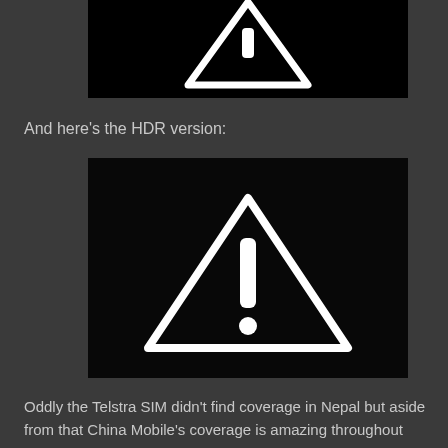[Figure (screenshot): Black rectangle showing partial warning triangle icon (top portion, cropped) on black background]
And here's the HDR version:
[Figure (screenshot): Black rectangle showing a white warning triangle with exclamation mark icon centered on black background]
Oddly the Telstra SIM didn't find coverage in Nepal but aside from that China Mobile's coverage is amazing throughout